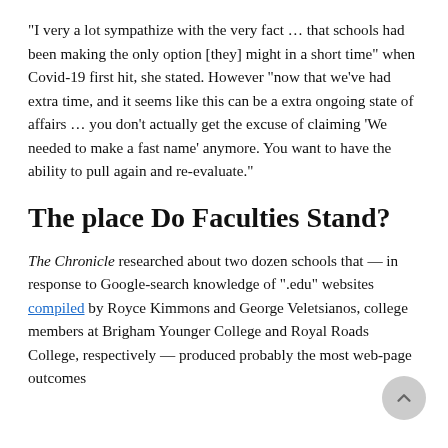“I very a lot sympathize with the very fact … that schools had been making the only option [they] might in a short time” when Covid-19 first hit, she stated. However “now that we’ve had extra time, and it seems like this can be a extra ongoing state of affairs … you don’t actually get the excuse of claiming ‘We needed to make a fast name’ anymore. You want to have the ability to pull again and re-evaluate.”
The place Do Faculties Stand?
The Chronicle researched about two dozen schools that — in response to Google-search knowledge of “.edu” websites compiled by Royce Kimmons and George Veletsianos, college members at Brigham Younger College and Royal Roads College, respectively — produced probably the most web-page outcomes